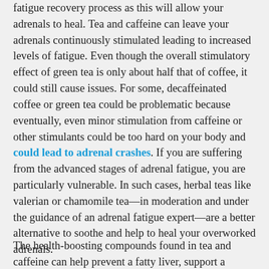fatigue recovery process as this will allow your adrenals to heal. Tea and caffeine can leave your adrenals continuously stimulated leading to increased levels of fatigue. Even though the overall stimulatory effect of green tea is only about half that of coffee, it could still cause issues. For some, decaffeinated coffee or green tea could be problematic because eventually, even minor stimulation from caffeine or other stimulants could be too hard on your body and could lead to adrenal crashes. If you are suffering from the advanced stages of adrenal fatigue, you are particularly vulnerable. In such cases, herbal teas like valerian or chamomile tea—in moderation and under the guidance of an adrenal fatigue expert—are a better alternative to soothe and help to heal your overworked adrenals.
The health-boosting compounds found in tea and caffeine can help prevent a fatty liver, support a